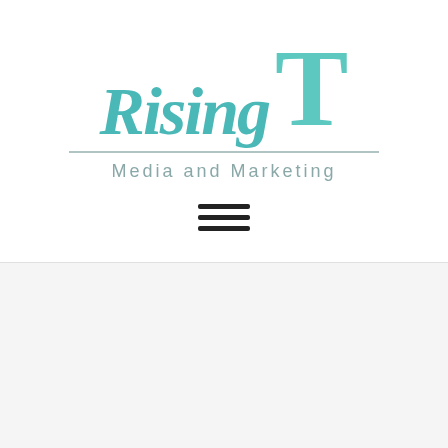[Figure (logo): Rising T Media and Marketing logo — stylized teal handwritten text 'Rising T' with 'Media and Marketing' subtitle beneath a horizontal rule]
[Figure (other): Hamburger menu icon — three horizontal dark bars stacked vertically, centered on the page]